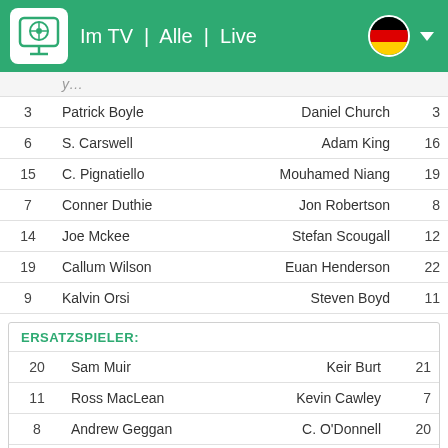Im TV | Alle | Live
| # | Name | Name | # |
| --- | --- | --- | --- |
| 3 | Patrick Boyle | Daniel Church | 3 |
| 6 | S. Carswell | Adam King | 16 |
| 15 | C. Pignatiello | Mouhamed Niang | 19 |
| 7 | Conner Duthie | Jon Robertson | 8 |
| 14 | Joe Mckee | Stefan Scougall | 12 |
| 19 | Callum Wilson | Euan Henderson | 22 |
| 9 | Kalvin Orsi | Steven Boyd | 11 |
ERSATZSPIELER:
| # | Name | Name | # |
| --- | --- | --- | --- |
| 20 | Sam Muir | Keir Burt | 21 |
| 11 | Ross MacLean | Kevin Cawley | 7 |
| 8 | Andrew Geggan | C. O'Donnell | 20 |
| 25 | Ryan Schiavone | Craig Howie | 4 |
| 21 | Patrick O'Neal | Andy Graham | 5 |
| 28 | David Hopkirk | Conor Sammon | 18 |